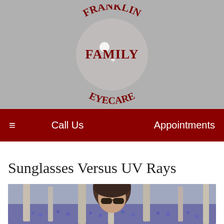[Figure (logo): Franklin Family Eyecare circular logo with dark red text arranged in an arc on a gray background]
≡   Call Us   Appointments
Sunglasses Versus UV Rays
[Figure (photo): Woman wearing sunglasses outdoors in a bluebell forest with trees in background]